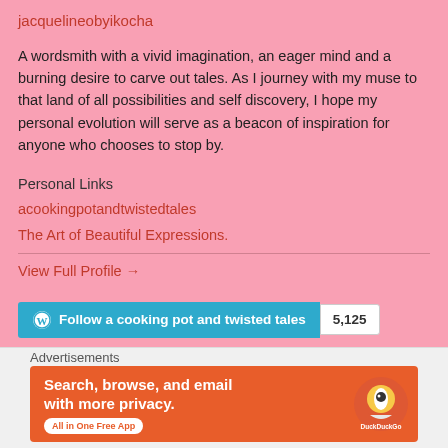jacquelineobyikocha
A wordsmith with a vivid imagination, an eager mind and a burning desire to carve out tales. As I journey with my muse to that land of all possibilities and self discovery, I hope my personal evolution will serve as a beacon of inspiration for anyone who chooses to stop by.
Personal Links
acookingpotandtwistedtales
The Art of Beautiful Expressions.
View Full Profile →
[Figure (other): Follow button for 'a cooking pot and twisted tales' with WordPress icon and follower count 5,125]
[Figure (other): Close/dismiss button (X circle)]
Advertisements
[Figure (other): DuckDuckGo advertisement banner: Search, browse, and email with more privacy. All in One Free App. Shows DuckDuckGo logo.]